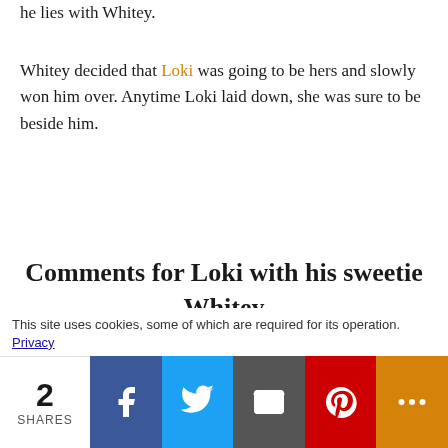he lies with Whitey.
Whitey decided that Loki was going to be hers and slowly won him over. Anytime Loki laid down, she was sure to be beside him.
Comments for Loki with his sweetie Whitey
Average Rating ★★★★★★
Click here to add your own comments
This site uses cookies, some of which are required for its operation. Privacy
2 SHARES [Facebook] [Twitter] [Email] [Pinterest] [More]